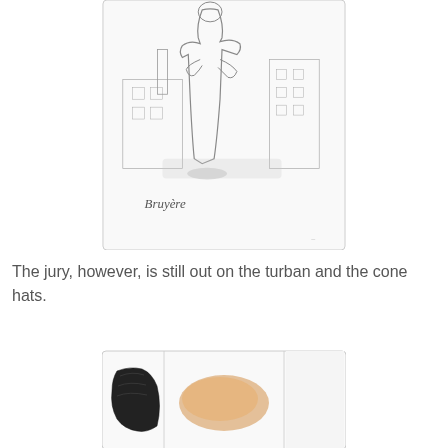[Figure (illustration): A pencil sketch illustration of a figure in a long white coat or robe, with an industrial building/chimney in the background. Signed 'Bruyère' in cursive at the bottom left.]
The jury, however, is still out on the turban and the cone hats.
[Figure (illustration): A partial illustration showing dark hair and an orange/amber watercolor wash shape, appearing to be a second fashion illustration.]